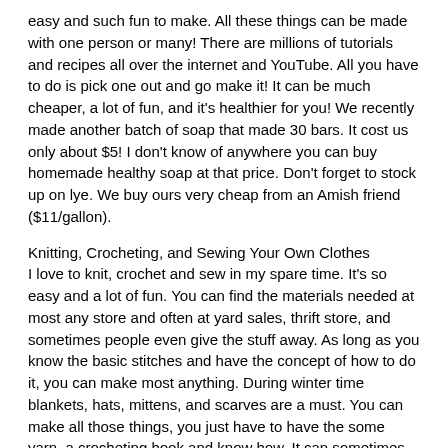easy and such fun to make. All these things can be made with one person or many! There are millions of tutorials and recipes all over the internet and YouTube. All you have to do is pick one out and go make it! It can be much cheaper, a lot of fun, and it's healthier for you! We recently made another batch of soap that made 30 bars. It cost us only about $5! I don't know of anywhere you can buy homemade healthy soap at that price. Don't forget to stock up on lye. We buy ours very cheap from an Amish friend ($11/gallon).
Knitting, Crocheting, and Sewing Your Own Clothes
I love to knit, crochet and sew in my spare time. It's so easy and a lot of fun. You can find the materials needed at most any store and often at yard sales, thrift store, and sometimes people even give the stuff away. As long as you know the basic stitches and have the concept of how to do it, you can make most anything. During winter time blankets, hats, mittens, and scarves are a must. You can make all those things, you just have to have the some yarn, a crocheting hook and know how. It can sometimes be much cheaper as well. And it help pass the time away when there is nothing else to do (wink).
(Ladies) Prepping for the Monthly Cycle
I know many of us ladies including myself have, at some point in time, wondered what we will do when that monthly visitor arrives in a disaster situation. So what do you do? You stock some! When you